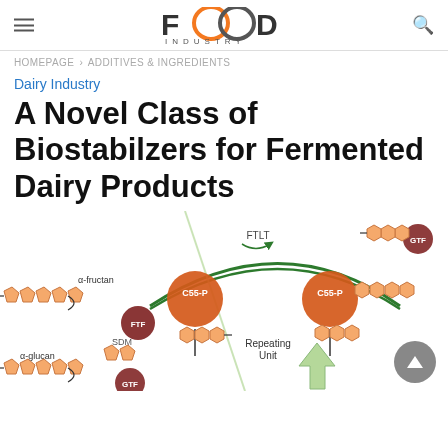FOOD INDUSTRY
HOMEPAGE > ADDITIVES & INGREDIENTS
Dairy Industry
A Novel Class of Biostabilzers for Fermented Dairy Products
[Figure (schematic): Biochemical diagram showing biosynthesis pathway with C55-P carriers, FTF and GTF enzymes, FTLT enzyme, α-fructan, α-glucan, SDM labels, and Repeating Unit annotation with arrows indicating the cyclic process of polysaccharide biosynthesis.]